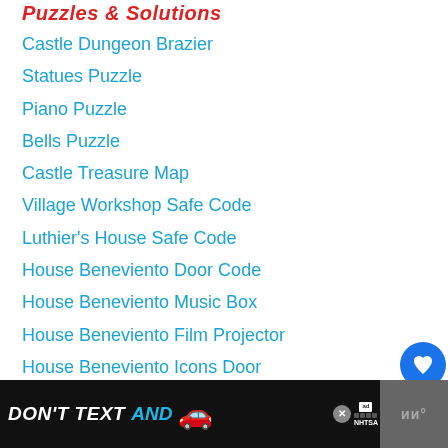Puzzles & Solutions
Castle Dungeon Brazier
Statues Puzzle
Piano Puzzle
Bells Puzzle
Castle Treasure Map
Village Workshop Safe Code
Luthier's House Safe Code
House Beneviento Door Code
House Beneviento Music Box
House Beneviento Film Projector
House Beneviento Icons Door
Moreau Reservoir Puzzle/Reaching Windmill
[Figure (screenshot): WHAT'S NEXT panel showing Forza Horizon 5: Premium...]
[Figure (screenshot): DON'T TEXT AND [car emoji] advertisement banner with NHTSA logo]